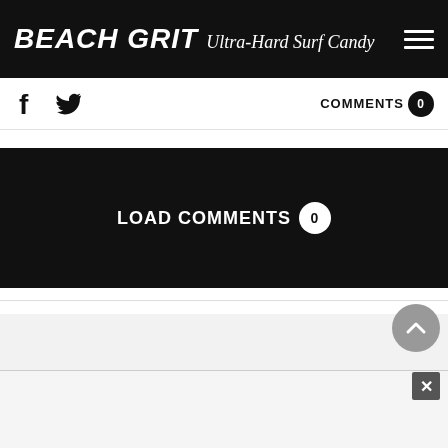BEACH GRIT Ultra-Hard Surf Candy
COMMENTS 0
LOAD COMMENTS 0
[Figure (other): Light gray advertisement placeholder area with 'Advertisment' text label]
Advertisment